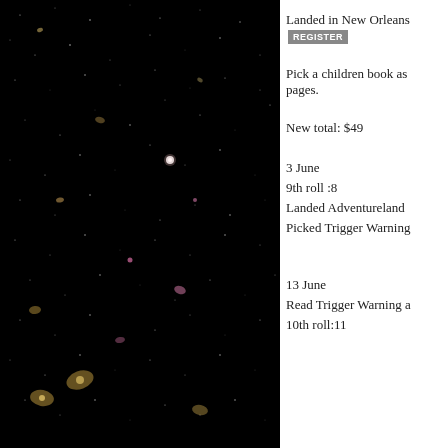[Figure (photo): Deep space/galaxy field photograph showing numerous galaxies and stars against a black background (Hubble deep field style image), occupying the left portion of the page.]
Landed in New Orleans
Pick a children book as pages.
New total: $49
3 June
9th roll :8
Landed Adventureland
Picked Trigger Warning
13 June
Read Trigger Warning a
10th roll:11